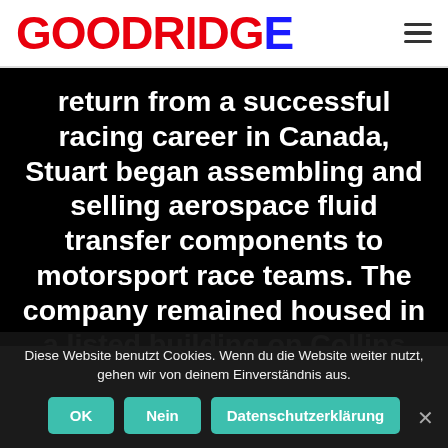[Figure (logo): Goodridge logo in red and blue bold text]
return from a successful racing career in Canada, Stuart began assembling and selling aerospace fluid transfer components to motorsport race teams. The company remained housed in a listed building on Collins Road, Totnes, until 1988 when the company purchased and developed a site on the Exeter Airport Business Park. In the same
Diese Website benutzt Cookies. Wenn du die Website weiter nutzt, gehen wir von deinem Einverständnis aus.
OK   Nein   Datenschutzerklärung